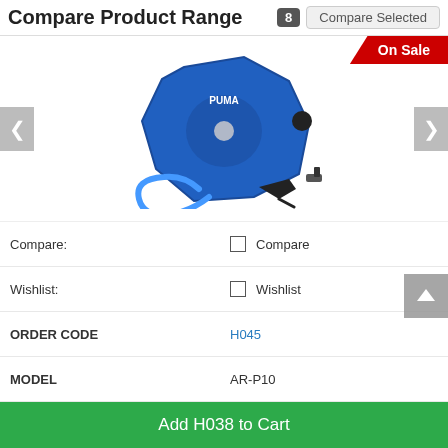Compare Product Range
[Figure (photo): Blue PUMA air hose reel on a wall mount with blue hose and air gun, shown against white background. 'On Sale' badge visible.]
| Property | Value |
| --- | --- |
| Compare: | ☐ Compare |
| Wishlist: | ☐ Wishlist |
| ORDER CODE | H045 |
| MODEL | AR-P10 |
| (Air-Water) Hose Type | Air |
| (Metre) Hose Length | 15 |
| (mm) Hose External Diameter | Ø13.5 |
Add H038 to Cart